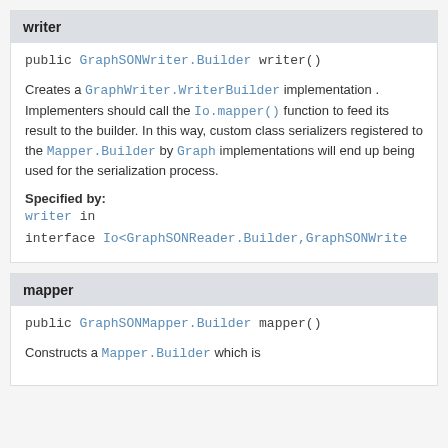writer
public GraphSONWriter.Builder writer()
Creates a GraphWriter.WriterBuilder implementation . Implementers should call the Io.mapper() function to feed its result to the builder. In this way, custom class serializers registered to the Mapper.Builder by Graph implementations will end up being used for the serialization process.
Specified by:
writer in interface Io<GraphSONReader.Builder,GraphSONWrite
mapper
public GraphSONMapper.Builder mapper()
Constructs a Mapper.Builder which is